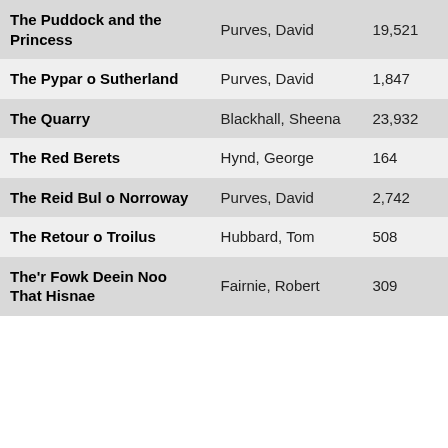| Title | Author | Count |
| --- | --- | --- |
| The Puddock and the Princess | Purves, David | 19,521 |
| The Pypar o Sutherland | Purves, David | 1,847 |
| The Quarry | Blackhall, Sheena | 23,932 |
| The Red Berets | Hynd, George | 164 |
| The Reid Bul o Norroway | Purves, David | 2,742 |
| The Retour o Troilus | Hubbard, Tom | 508 |
| The'r Fowk Deein Noo That Hisnae | Fairnie, Robert | 309 |